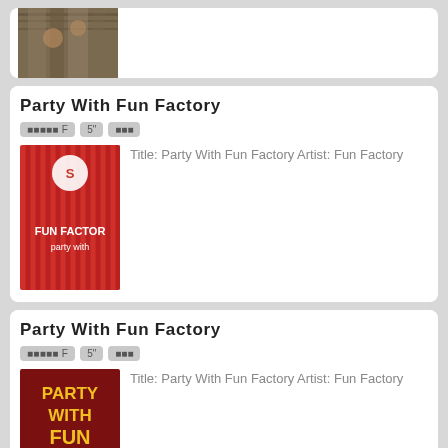[Figure (photo): Partial view of a library or shelf scene, top of the page cut off]
Party With Fun Factory
ⓟⓢⓨⓒⓗⓞ F   5"   ⓡⓔⓓ
[Figure (photo): Red striped album cover with white text reading FUN FACTORY and a circular logo]
Title: Party With Fun Factory Artist: Fun Factory
Party With Fun Factory
ⓟⓢⓨⓒⓗⓞ F   5"   ⓡⓔⓓ
[Figure (photo): Dark red album cover with large yellow text reading PARTY WITH FUN FACTORY]
Title: Party With Fun Factory Artist: Fun Factory